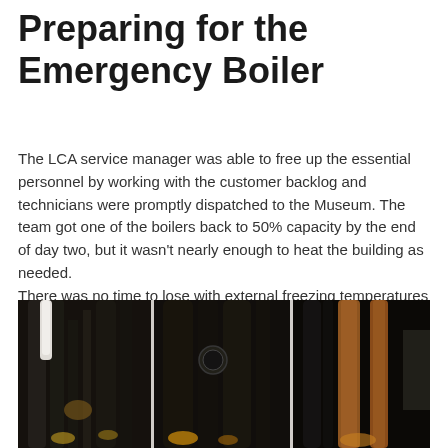Preparing for the Emergency Boiler
The LCA service manager was able to free up the essential personnel by working with the customer backlog and technicians were promptly dispatched to the Museum. The team got one of the boilers back to 50% capacity by the end of day two, but it wasn't nearly enough to heat the building as needed.
There was no time to lose with external freezing temperatures and an unhappy retail tenant on the first floor. To heat the building temporarily, LCA secured electric heaters and electricians to install additional electrical circuits required for sufficient power.
[Figure (photo): Industrial boiler room showing pipes and copper plumbing components in dark setting, split into three panels]